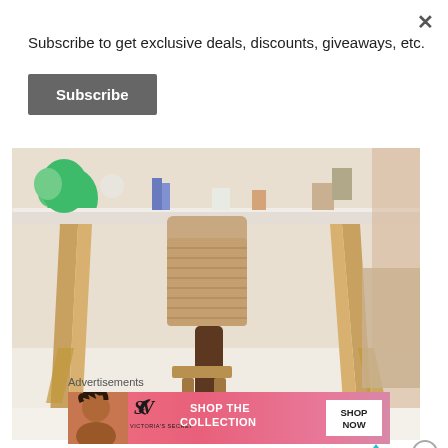Subscribe to get exclusive deals, discounts, giveaways, etc.
Subscribe
[Figure (photo): Photo of a child sitting under a wooden play table or activity table, with balloons and toys visible on top, taken from a low angle.]
Advertisements
[Figure (infographic): Victoria's Secret advertisement banner showing a woman model with curly hair on the left, Victoria's Secret logo in the middle, text 'SHOP THE COLLECTION', and a white 'SHOP NOW' button on the right, on a pink gradient background.]